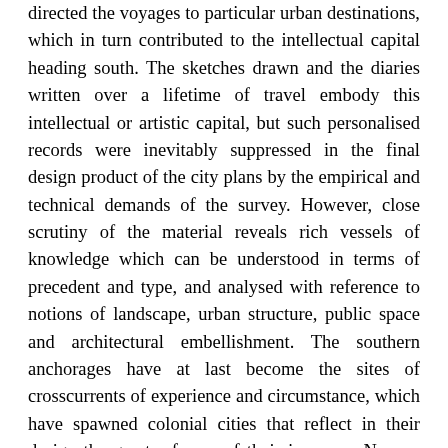directed the voyages to particular urban destinations, which in turn contributed to the intellectual capital heading south. The sketches drawn and the diaries written over a lifetime of travel embody this intellectual or artistic capital, but such personalised records were inevitably suppressed in the final design product of the city plans by the empirical and technical demands of the survey. However, close scrutiny of the material reveals rich vessels of knowledge which can be understood in terms of precedent and type, and analysed with reference to notions of landscape, urban structure, public space and architectural embellishment. The southern anchorages have at last become the sites of crosscurrents of experience and circumstance, which have spawned colonial cities that reflect in their design the greater forces of their journeys. No one voyage was the same, nor any two cities identical, thus the four urban design outcomes reflect the different processes of conception and development. The thesis concludes comparing the interplay of design, settlement ethos, politics and resources in Sydney, Adelaide, Wellington and